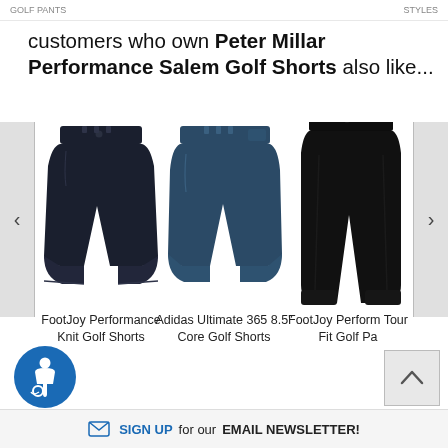customers who own Peter Millar Performance Salem Golf Shorts also like...
[Figure (photo): FootJoy Performance Knit Golf Shorts - navy blue shorts product image]
[Figure (photo): Adidas Ultimate 365 8.5" Core Golf Shorts - dark teal shorts product image]
[Figure (photo): FootJoy Performance Tour Fit Golf Pants - black pants product image]
FootJoy Performance Knit Golf Shorts
Adidas Ultimate 365 8.5" Core Golf Shorts
FootJoy Performance Tour Fit Golf Pa
SIGN UP for our EMAIL NEWSLETTER!